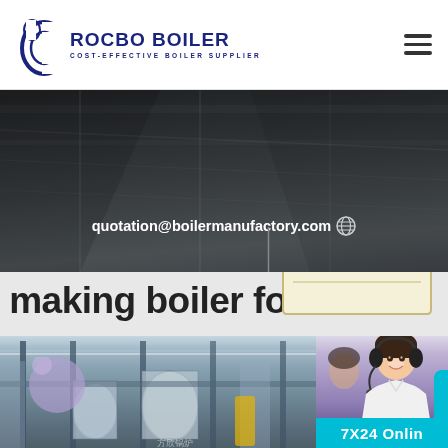[Figure (logo): Rocbo Boiler logo with circular C graphic and text 'COST-EFFECTIVE BOILER SUPPLIER']
[Figure (screenshot): Dark industrial banner showing boiler factory background with email address quotation@boilermanufactory.com and globe icon]
quotation@boilermanufactory.com
[Figure (infographic): 10% DISCOUNT hanging sign badge in yellow/cream with red and teal text]
making boiler for
[Figure (photo): Industrial boiler factory floor photograph showing large industrial equipment]
[Figure (photo): Customer service representative with headset smiling]
7X24 Online